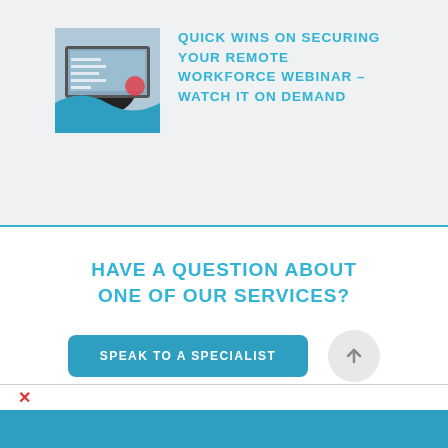[Figure (screenshot): Thumbnail image of a webinar cover showing a person at a laptop with text overlay about securing remote workforce]
QUICK WINS ON SECURING YOUR REMOTE WORKFORCE WEBINAR – WATCH IT ON DEMAND
HAVE A QUESTION ABOUT ONE OF OUR SERVICES?
SPEAK TO A SPECIALIST